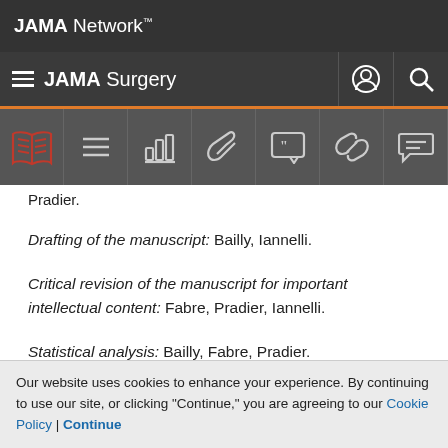JAMA Network
JAMA Surgery
Pradier.
Drafting of the manuscript: Bailly, Iannelli.
Critical revision of the manuscript for important intellectual content: Fabre, Pradier, Iannelli.
Statistical analysis: Bailly, Fabre, Pradier.
Administrative, technical, or material support: Pradier.
Our website uses cookies to enhance your experience. By continuing to use our site, or clicking "Continue," you are agreeing to our Cookie Policy | Continue